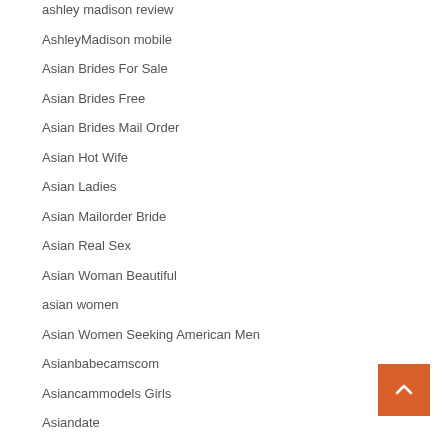ashley madison review
AshleyMadison mobile
Asian Brides For Sale
Asian Brides Free
Asian Brides Mail Order
Asian Hot Wife
Asian Ladies
Asian Mailorder Bride
Asian Real Sex
Asian Woman Beautiful
asian women
Asian Women Seeking American Men
Asianbabecamscom
Asiancammodels Girls
Asiandate
Asiatic Flirt Match mobile